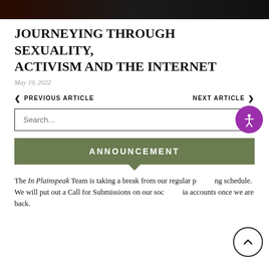[Figure (photo): Dark hero image strip at top of page]
JOURNEYING THROUGH SEXUALITY, ACTIVISM AND THE INTERNET
May 19, 2022
< PREVIOUS ARTICLE    NEXT ARTICLE >
Search...
ANNOUNCEMENT
The In Plainspeak Team is taking a break from our regular publishing schedule. We will put out a Call for Submissions on our social media accounts once we are back.